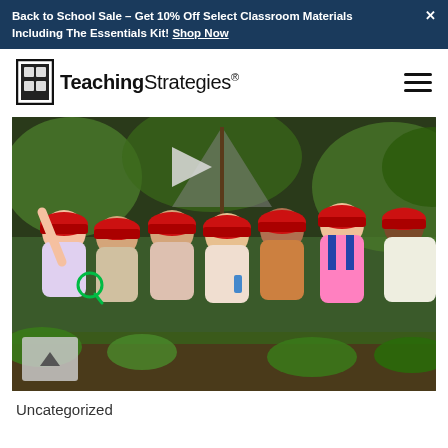Back to School Sale – Get 10% Off Select Classroom Materials Including The Essentials Kit! Shop Now
[Figure (logo): Teaching Strategies logo with door icon and wordmark]
[Figure (photo): Six young children wearing red baseball caps standing together in an outdoor garden setting, smiling at the camera. Some hold magnifying glasses and small tools. Lush green plants visible in background.]
Uncategorized